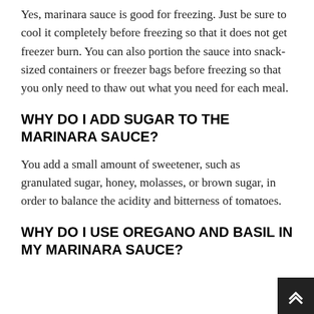Yes, marinara sauce is good for freezing. Just be sure to cool it completely before freezing so that it does not get freezer burn. You can also portion the sauce into snack-sized containers or freezer bags before freezing so that you only need to thaw out what you need for each meal.
WHY DO I ADD SUGAR TO THE MARINARA SAUCE?
You add a small amount of sweetener, such as granulated sugar, honey, molasses, or brown sugar, in order to balance the acidity and bitterness of tomatoes.
WHY DO I USE OREGANO AND BASIL IN MY MARINARA SAUCE?